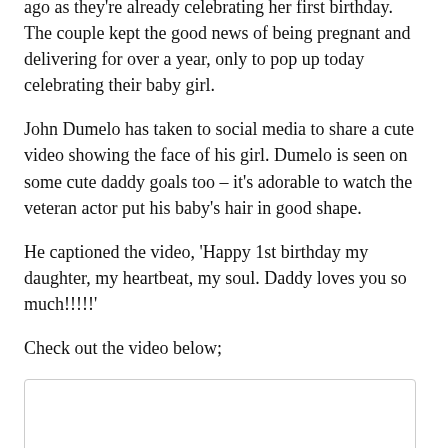ago as they're already celebrating her first birthday. The couple kept the good news of being pregnant and delivering for over a year, only to pop up today celebrating their baby girl.
John Dumelo has taken to social media to share a cute video showing the face of his girl. Dumelo is seen on some cute daddy goals too – it's adorable to watch the veteran actor put his baby's hair in good shape.
He captioned the video, 'Happy 1st birthday my daughter, my heartbeat, my soul. Daddy loves you so much!!!!!'
Check out the video below;
[Figure (other): Embedded video player box (empty/loading)]